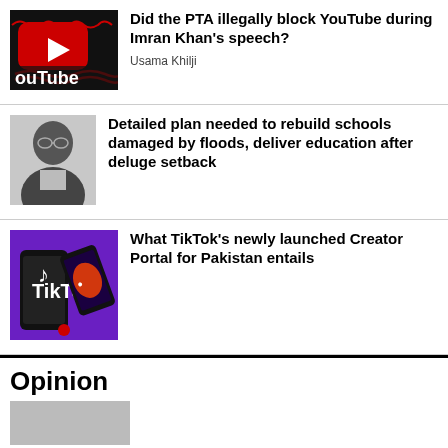[Figure (photo): YouTube logo with chains on dark background]
Did the PTA illegally block YouTube during Imran Khan's speech?
Usama Khilji
[Figure (photo): Black and white headshot of a man in a suit]
Detailed plan needed to rebuild schools damaged by floods, deliver education after deluge setback
[Figure (photo): TikTok phones on purple background]
What TikTok's newly launched Creator Portal for Pakistan entails
Opinion
[Figure (photo): Partial opinion section image at bottom]